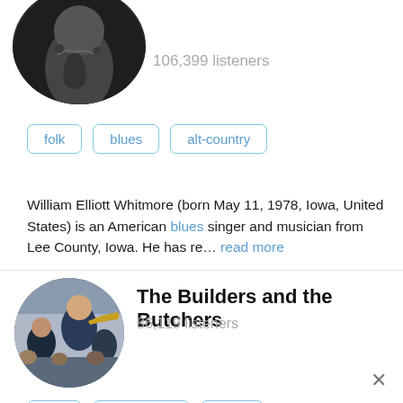[Figure (photo): Circular cropped black and white photo of William Elliott Whitmore (partially visible, cropped at top)]
106,399 listeners
folk
blues
alt-country
William Elliott Whitmore (born May 11, 1978, Iowa, United States) is an American blues singer and musician from Lee County, Iowa. He has re... read more
[Figure (photo): Circular color photo of The Builders and the Butchers band performing]
The Builders and the Butchers
86,119 listeners
folk
americana
indie
The Builders and the Butchers consist of: Ryan Sollee: vocals/guitar Harvey Tumbleson: mandolin/banio Ray Rude: percussion  Justin